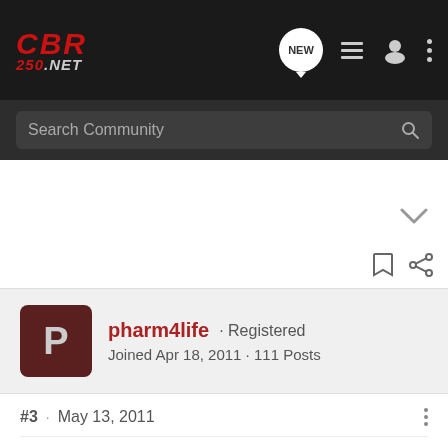CBR 250.NET
Search Community
pharm4life · Registered
Joined Apr 18, 2011 · 111 Posts
#3 · May 13, 2011
oh man!!!

i knew you said she was riding a sportster but when i saw the thread i immediately thought it was your 250r she dropped